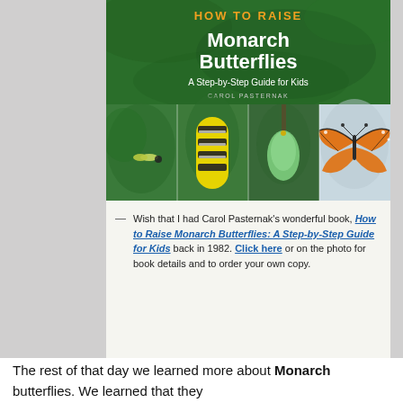[Figure (photo): Book cover of 'How to Raise Monarch Butterflies: A Step-by-Step Guide for Kids' by Carol Pasternak, showing four nature photos of caterpillar life stages on a green background, with orange and white title text.]
— Wish that I had Carol Pasternak's wonderful book, How to Raise Monarch Butterflies: A Step-by-Step Guide for Kids back in 1982. Click here or on the photo for book details and to order your own copy.
The rest of that day we learned more about Monarch butterflies. We learned that they actually start life as an egg. We learned that Monarch caterpillars only eat